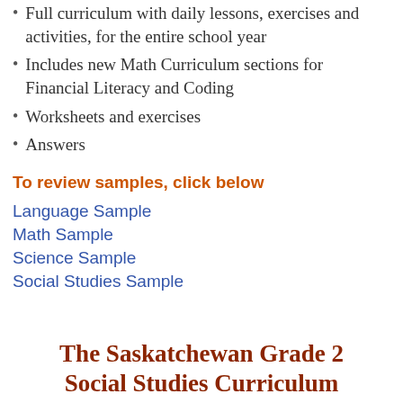Full curriculum with daily lessons, exercises and activities, for the entire school year
Includes new Math Curriculum sections for Financial Literacy and Coding
Worksheets and exercises
Answers
To review samples, click below
Language Sample
Math Sample
Science Sample
Social Studies Sample
The Saskatchewan Grade 2 Social Studies Curriculum